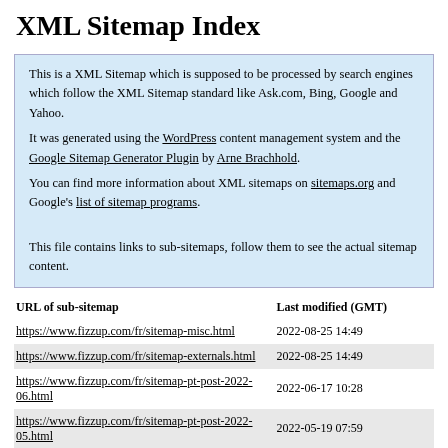XML Sitemap Index
This is a XML Sitemap which is supposed to be processed by search engines which follow the XML Sitemap standard like Ask.com, Bing, Google and Yahoo.
It was generated using the WordPress content management system and the Google Sitemap Generator Plugin by Arne Brachhold.
You can find more information about XML sitemaps on sitemaps.org and Google's list of sitemap programs.

This file contains links to sub-sitemaps, follow them to see the actual sitemap content.
| URL of sub-sitemap | Last modified (GMT) |
| --- | --- |
| https://www.fizzup.com/fr/sitemap-misc.html | 2022-08-25 14:49 |
| https://www.fizzup.com/fr/sitemap-externals.html | 2022-08-25 14:49 |
| https://www.fizzup.com/fr/sitemap-pt-post-2022-06.html | 2022-06-17 10:28 |
| https://www.fizzup.com/fr/sitemap-pt-post-2022-05.html | 2022-05-19 07:59 |
| https://www.fizzup.com/fr/sitemap-pt-post-2022-03.html | 2022-05-04 09:45 |
| https://www.fizzup.com/fr/sitemap-pt-post-2021-11.html | 2021-11-23 14:51 |